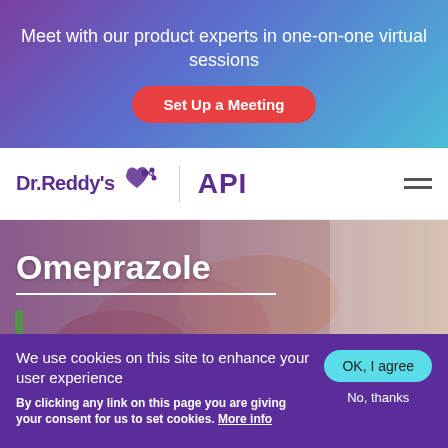Meet with our product experts in one-on-one virtual sessions
Set Up a Meeting
[Figure (logo): Dr. Reddy's logo with heart and molecule icon, followed by vertical divider and API text in bold purple]
Omeprazole
[Figure (photo): Doctor and patient hands, medical consultation scene with purple/dark overlay]
We use cookies on this site to enhance your user experience
By clicking any link on this page you are giving your consent for us to set cookies. More info
OK, I agree
No, thanks